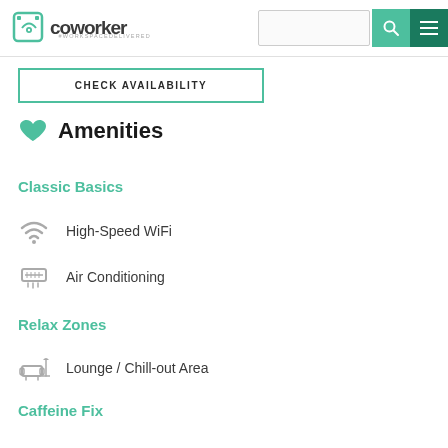coworker #workspacedelivered
CHECK AVAILABILITY
Amenities
Classic Basics
High-Speed WiFi
Air Conditioning
Relax Zones
Lounge / Chill-out Area
Caffeine Fix
Free Coffee